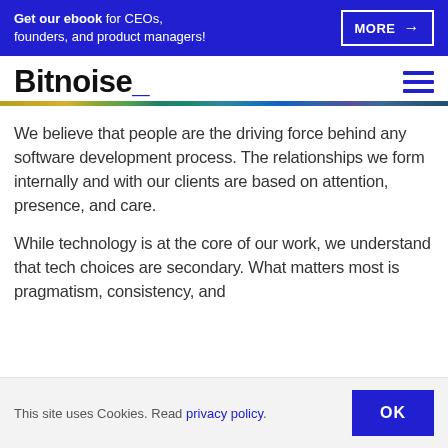Get our ebook for CEOs, founders, and product managers! MORE →
Bitnoise_
We believe that people are the driving force behind any software development process. The relationships we form internally and with our clients are based on attention, presence, and care.
While technology is at the core of our work, we understand that tech choices are secondary. What matters most is pragmatism, consistency, and
This site uses Cookies. Read privacy policy. OK